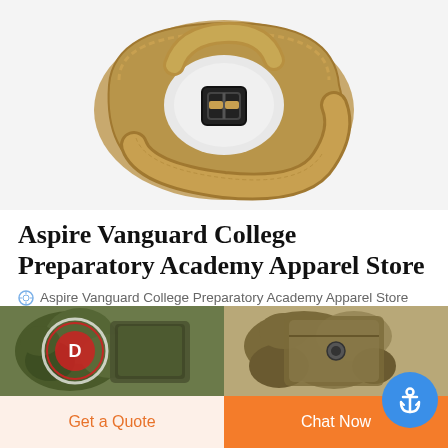[Figure (photo): Tan/khaki military tactical belt coiled up with black metal buckle, product photo on white background]
Aspire Vanguard College Preparatory Academy Apparel Store
Aspire Vanguard College Preparatory Academy Apparel Store clothing and apparel! T-shirts, sweatshirts, hoodies, sweat pants, hats, mugs and more. Shop for your Aspire Vanguard College Preparatory Academy Apparel Store spirit wear here!
[Figure (photo): Camouflage military tactical pouch/mag holder, dark green camo pattern]
[Figure (photo): Camouflage military item with button snap, multicam pattern]
Get a Quote
Chat Now